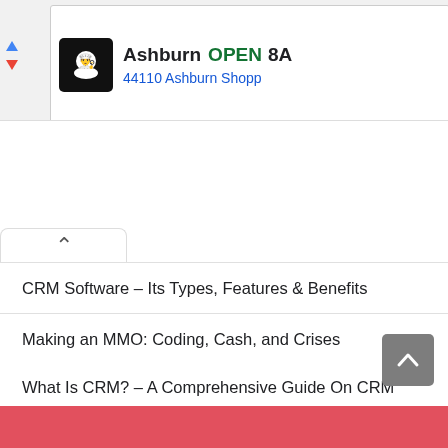[Figure (screenshot): Advertisement banner showing a restaurant listing: Ashburn OPEN 8A... 44110 Ashburn Shopp... with a chef logo icon, navigation arrows, and a close button.]
CRM Software – Its Types, Features & Benefits
Making an MMO: Coding, Cash, and Crises
What Is CRM? – A Comprehensive Guide On CRM
Cybercriminals Are Targeting Everyone and Everything, Including Blockchain
How to Begin Trading Bitcoins – The Ultimate Guide
[Figure (screenshot): Partial red banner at the bottom of the page, partially visible, appears to be a promotional or social media follow bar.]